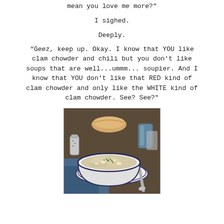mean you love me more?"
I sighed.
Deeply.
"Geez, keep up. Okay. I know that YOU like clam chowder and chili but you don't like soups that are well...ummm... soupier. And I know that YOU don't like that RED kind of clam chowder and only like the WHITE kind of clam chowder. See? See?"
[Figure (photo): A bowl of white New England clam chowder with garnish, a spoon on a saucer, bread roll in background, salt shaker, blue glass, on a blue cloth.]